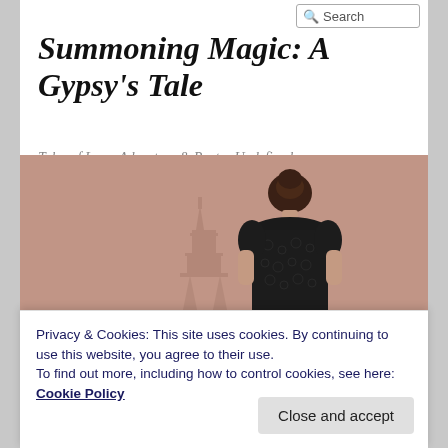Summoning Magic: A Gypsy's Tale
Tales of Love, Adventure & Poetry Undefined
[Figure (photo): A woman with her back turned, wearing a black lace dress with her hair up, standing in front of a faded image of the Eiffel Tower against a warm pinkish-brown background. Navigation bar below with 'A Gypsy's Tale' and 'Poetry Undefined' links on dark background.]
Privacy & Cookies: This site uses cookies. By continuing to use this website, you agree to their use.
To find out more, including how to control cookies, see here:
Cookie Policy
Close and accept